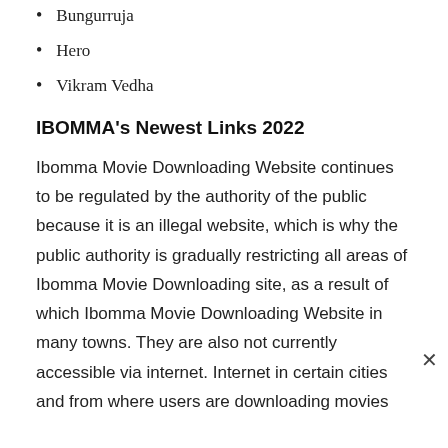Bungurruja
Hero
Vikram Vedha
IBOMMA's Newest Links 2022
Ibomma Movie Downloading Website continues to be regulated by the authority of the public because it is an illegal website, which is why the public authority is gradually restricting all areas of Ibomma Movie Downloading site, as a result of which Ibomma Movie Downloading Website in many towns. They are also not currently accessible via internet. Internet in certain cities and from where users are downloading movies